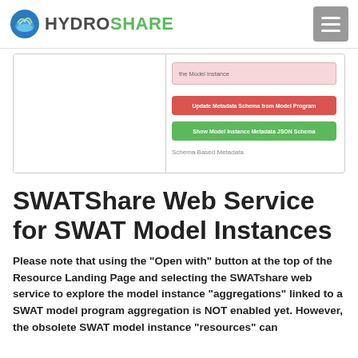HYDROSHARE
[Figure (screenshot): Screenshot of a HydroShare model instance metadata panel showing a pink error bar, a red 'Update Metadata Schema from Model Program' button, a green 'Show Model Instance Metadata JSON Schema' button, and a 'Schema Based Metadata' label.]
SWATShare Web Service for SWAT Model Instances
Please note that using the “Open with” button at the top of the Resource Landing Page and selecting the SWATshare web service to explore the model instance “aggregations” linked to a SWAT model program aggregation is NOT enabled yet. However, the obsolete SWAT model instance “resources” can